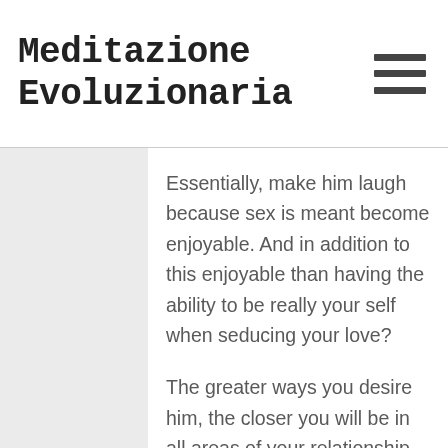Meditazione Evoluzionaria
Essentially, make him laugh because sex is meant become enjoyable. And in addition to this enjoyable than having the ability to be really your self when seducing your love?
The greater ways you desire him, the closer you will be in all areas of your relationship that you show him. It is exactly about the small things, and additionally they add up fast. Attempting one brand new sultry thing per week to help keep your relationship fresh and interesting for the you both can help guarantee the passion will always be alive when it comes to longterm